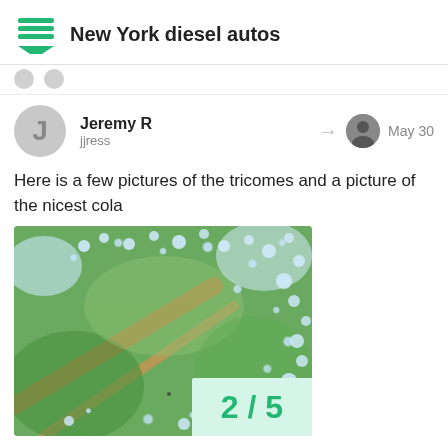New York diesel autos
Jeremy R
jjress
May 30
Here is a few pictures of the tricomes and a picture of the nicest cola
[Figure (photo): Macro close-up photograph of cannabis plant tricomes showing glistening, bulbous resin glands on green buds with orange hairs]
2 / 5